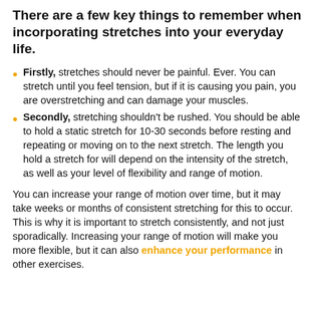There are a few key things to remember when incorporating stretches into your everyday life.
Firstly, stretches should never be painful. Ever. You can stretch until you feel tension, but if it is causing you pain, you are overstretching and can damage your muscles.
Secondly, stretching shouldn't be rushed. You should be able to hold a static stretch for 10-30 seconds before resting and repeating or moving on to the next stretch. The length you hold a stretch for will depend on the intensity of the stretch, as well as your level of flexibility and range of motion.
You can increase your range of motion over time, but it may take weeks or months of consistent stretching for this to occur. This is why it is important to stretch consistently, and not just sporadically. Increasing your range of motion will make you more flexible, but it can also enhance your performance in other exercises.